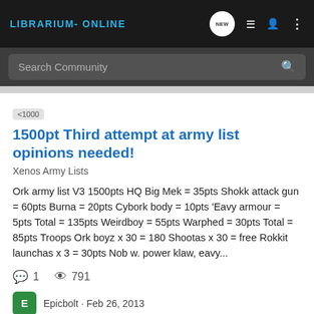LIBRARIUM-ONLINE
1500pt Third attempt at army list opinions needed!
Xenos Army Lists
Ork army list V3 1500pts HQ Big Mek = 35pts Shokk attack gun = 60pts Burna = 20pts Cybork body = 10pts 'Eavy armour = 5pts Total = 135pts Weirdboy = 55pts Warphed = 30pts Total = 85pts Troops Ork boyz x 30 = 180 Shootas x 30 = free Rokkit launchas x 3 = 30pts Nob w. power klaw, eavy...
1   791
Epicbolt · Feb 26, 2013
1500
40k
army list
ork